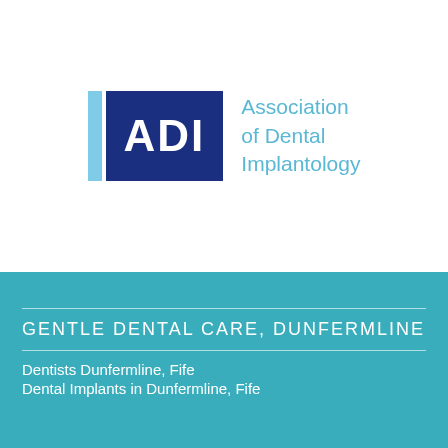[Figure (logo): ADI (Association of Dental Implantology) logo — navy blue rectangle with white 'ADI' text, light blue left accent bar, and light blue 'Association of Dental Implantology' text to the right]
GENTLE DENTAL CARE, DUNFERMLINE
Dentists Dunfermline, Fife
Dental Implants in Dunfermline, Fife